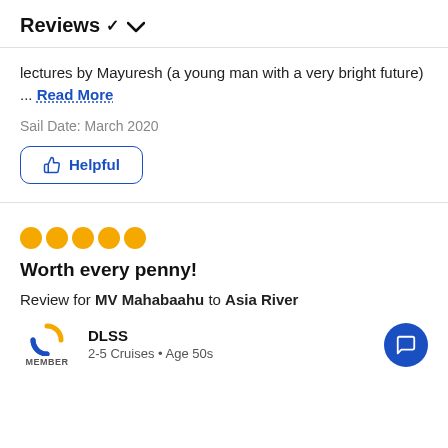Reviews ∨
lectures by Mayuresh (a young man with a very bright future) ... Read More
Sail Date: March 2020
Helpful
[Figure (other): Five orange filled circle star rating dots]
Worth every penny!
Review for MV Mahabaahu to Asia River
[Figure (logo): Cruise Critic member logo with orange and blue C icon and MEMBER text below]
DLSS
2-5 Cruises • Age 50s